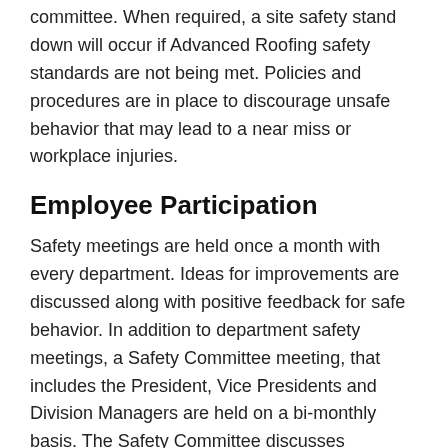committee. When required, a site safety stand down will occur if Advanced Roofing safety standards are not being met. Policies and procedures are in place to discourage unsafe behavior that may lead to a near miss or workplace injuries.
Employee Participation
Safety meetings are held once a month with every department. Ideas for improvements are discussed along with positive feedback for safe behavior. In addition to department safety meetings, a Safety Committee meeting, that includes the President, Vice Presidents and Division Managers are held on a bi-monthly basis. The Safety Committee discusses workplace injuries, root cause, relevant safety topics, problem-solving, lessons learned,